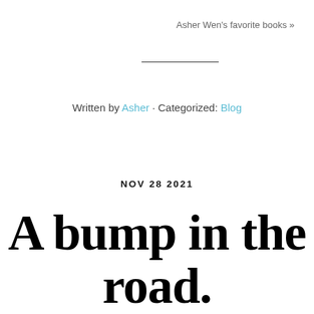Asher Wen's favorite books »
Written by Asher · Categorized: Blog
NOV 28 2021
A bump in the road.